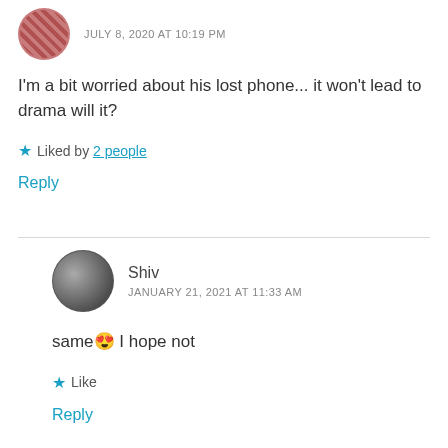JULY 8, 2020 AT 10:19 PM
I'm a bit worried about his lost phone... it won't lead to drama will it?
Liked by 2 people
Reply
Shiv
JANUARY 21, 2021 AT 11:33 AM
same 😔 I hope not
Like
Reply